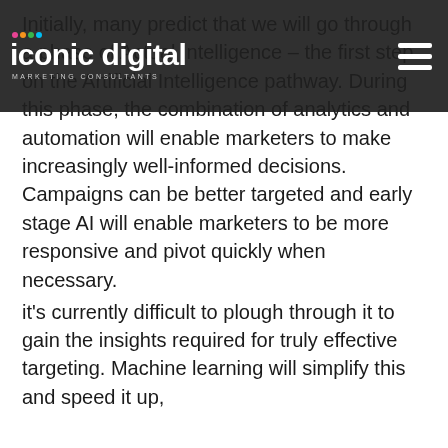Initially, many predict that we will go through a phase of Actual Intelligence – the first step on the Artificial Intelligence pathway. During this phase, the combination of analytics and automation will enable marketers to make increasingly well-informed decisions. Campaigns can be better targeted and early stage AI will enable marketers to be more responsive and pivot quickly when necessary.
[Figure (logo): Iconic Digital Marketing Consultants logo with colorful dots and hamburger menu icon on dark background nav bar]
Crunching data
We are entering the age of big data and this represents an immense opportunity for marketers and businesses. However, the volume of data involved is intimidating and it's currently difficult to plough through it to gain the insights required for truly effective targeting. Machine learning will simplify this and speed it up,